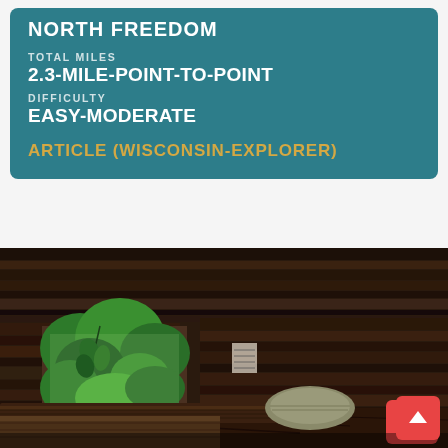NORTH FREEDOM
TOTAL MILES
2.3-MILE-POINT-TO-POINT
DIFFICULTY
EASY-MODERATE
ARTICLE (WISCONSIN-EXPLORER)
[Figure (photo): Interior of a rustic log cabin with rough wooden plank walls and ceiling, a window opening showing green foliage outside, a cushion resting on a wooden bench, and a wooden table in the foreground.]